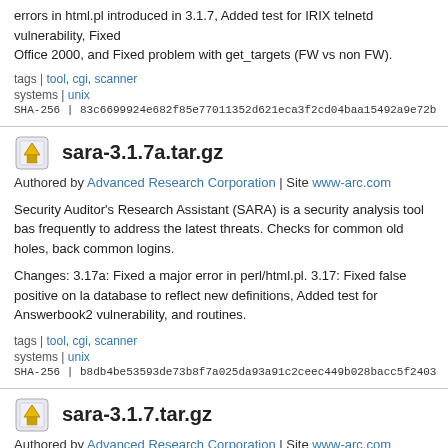errors in html.pl introduced in 3.1.7, Added test for IRIX telnetd vulnerability, Fixed Office 2000, and Fixed problem with get_targets (FW vs non FW).
tags | tool, cgi, scanner
systems | unix
SHA-256 | 83c6699924e682f85e77011352d621eca3f2cd04baa15492a9e72b
sara-3.1.7a.tar.gz
Authored by Advanced Research Corporation | Site www-arc.com
Security Auditor's Research Assistant (SARA) is a security analysis tool bas... frequently to address the latest threats. Checks for common old holes, back... common logins.
Changes: 3.17a: Fixed a major error in perl/html.pl. 3.17: Fixed false positive on la... database to reflect new definitions, Added test for Answerbook2 vulnerability, and routines.
tags | tool, cgi, scanner
systems | unix
SHA-256 | b8db4be53593de73b8f7a025da93a91c2ceec449b028bacc5f2403
sara-3.1.7.tar.gz
Authored by Advanced Research Corporation | Site www-arc.com
Security Auditor's Research Assistant (SARA) is a security analysis tool bas...